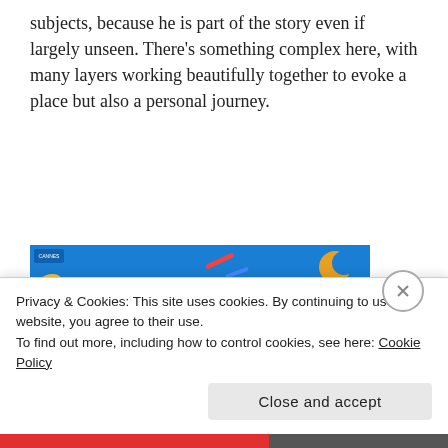subjects, because he is part of the story even if largely unseen. There's something complex here, with many layers working beautifully together to evoke a place but also a personal journey.
[Figure (illustration): Movie poster for 'Mariner of the Mountains' — colorful illustrated poster with a blue background featuring Arabic text, stylized figures, mountains, and a tower/monument. Text reads 'MARINER OF THE MOUNTAINS' at the bottom.]
Privacy & Cookies: This site uses cookies. By continuing to use this website, you agree to their use.
To find out more, including how to control cookies, see here: Cookie Policy
Close and accept